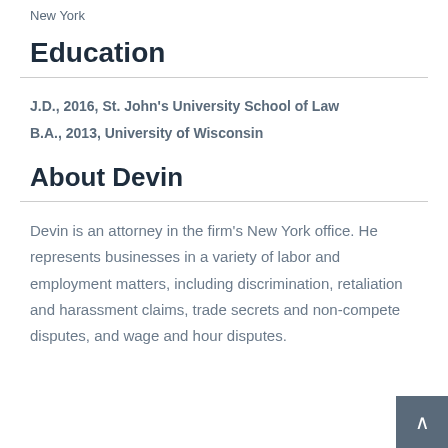New York
Education
J.D., 2016, St. John's University School of Law
B.A., 2013, University of Wisconsin
About Devin
Devin is an attorney in the firm's New York office. He represents businesses in a variety of labor and employment matters, including discrimination, retaliation and harassment claims, trade secrets and non-compete disputes, and wage and hour disputes.